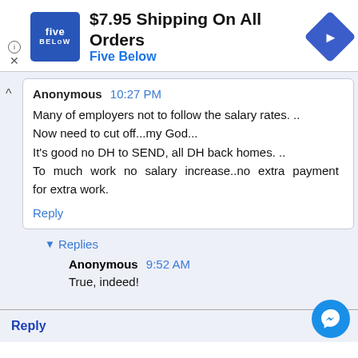[Figure (screenshot): Five Below advertisement banner with logo, heading '$7.95 Shipping On All Orders', subheading 'Five Below', and a navigation icon]
Anonymous 10:27 PM
Many of employers not to follow the salary rates. ..
Now need to cut off...my God...
It's good no DH to SEND, all DH back homes. ..
To much work no salary increase..no extra payment for extra work.
Reply
Replies
Anonymous 9:52 AM
True, indeed!
Reply